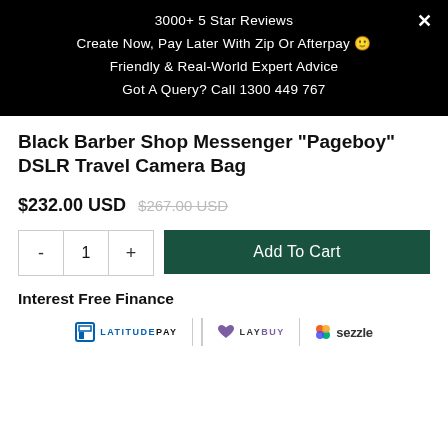3000+ 5 Star Reviews
Create Now, Pay Later With Zip Or Afterpay 🙂
Friendly & Real-World Expert Advice
Got A Query? Call 1300 449 767
Black Barber Shop Messenger "Pageboy" DSLR Travel Camera Bag
$232.00 USD $267.00 USD
- 1 + Add To Cart
Interest Free Finance
[Figure (logo): Payment provider logos: LatitudePay, LayBuy, Sezzle]